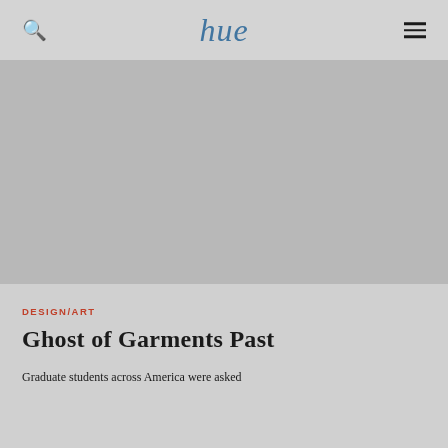hue
[Figure (photo): Large hero image placeholder area with gray background, appears to be a full-width editorial image for the article about garments]
DESIGN/ART
Ghost of Garments Past
Graduate students across America were asked